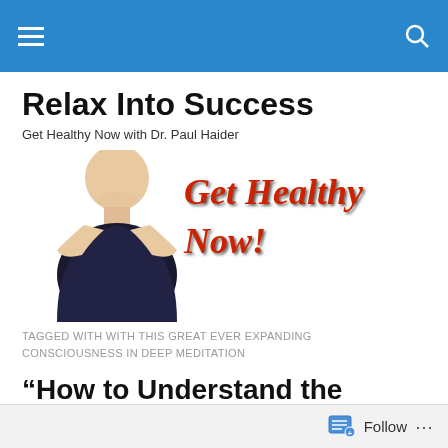Navigation bar with hamburger menu and search icon
Relax Into Success
Get Healthy Now with Dr. Paul Haider
[Figure (illustration): Banner image showing a bald man in a dark shirt beside large cursive red text reading 'Get Healthy Now!']
TAGGED WITH WITH THIS GREAT EVER EXPANDING CONSCIOUSNESS IN DEEP MEDITATION
“How to Understand the Cosmos and Connect…
Follow …